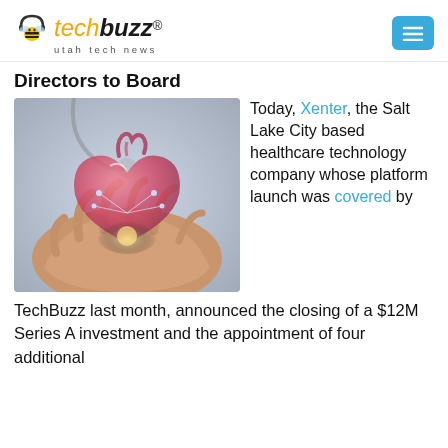[Figure (logo): TechBuzz Utah Tech News logo with bee mascot icon]
Directors to Board
[Figure (photo): Hands holding a glowing digital heart model, with stethoscope visible in background]
Today, Xenter, the Salt Lake City based healthcare technology company whose platform launch was covered by TechBuzz last month, announced the closing of a $12M Series A investment and the appointment of four additional
TechBuzz last month, announced the closing of a $12M Series A investment and the appointment of four additional